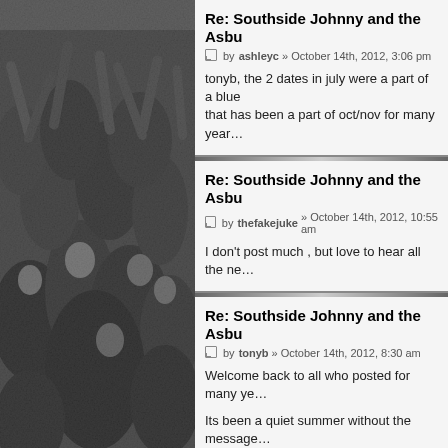[Figure (photo): Black and white photo of a crowd of people at a concert, arms raised, tightly packed together.]
Re: Southside Johnny and the Asbu…
by ashleyc » October 14th, 2012, 3:06 pm
tonyb, the 2 dates in july were a part of a blue… that has been a part of oct/nov for many year…
Re: Southside Johnny and the Asbu…
by thefakejuke » October 14th, 2012, 10:55 am
I don't post much , but love to hear all the ne…
Re: Southside Johnny and the Asbu…
by tonyb » October 14th, 2012, 8:30 am
Welcome back to all who posted for many ye…

Its been a quiet summer without the message…

What happened to the British tour this year? …

Any news on on British dates more than welc…